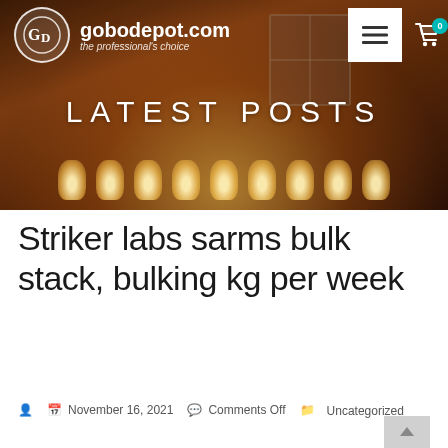[Figure (screenshot): Website header for gobodepot.com showing logo with GD initials in a circle, site name 'gobodepot.com' and tagline 'the professional's choice', hamburger menu button, cart icon with badge '0', and a hero banner with text 'LATEST POSTS' over a warm-toned brick wall and hanging candles/lights background.]
Striker labs sarms bulk stack, bulking kg per week
November 16, 2021   Comments Off   Uncategorized